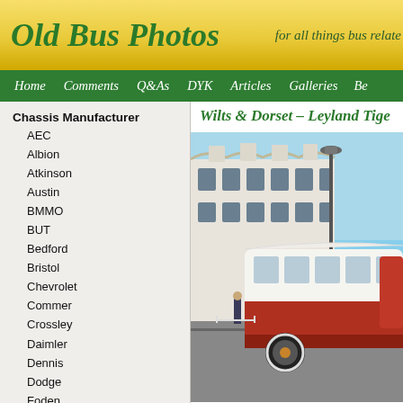Old Bus Photos — for all things bus relate
Home  Comments  Q&As  DYK  Articles  Galleries  Be
Chassis Manufacturer
AEC
Albion
Atkinson
Austin
BMMO
BUT
Bedford
Bristol
Chevrolet
Commer
Crossley
Daimler
Dennis
Dodge
Foden
Ford
Gilford
Gloster-Gardner
Graham-Dodge
Guy
Karrier
LGOC
Leyland
Wilts & Dorset – Leyland Tige
[Figure (photo): Vintage bus photo showing a red and white coach/bus parked in front of a large white ornate Victorian building, with a street lamp and clear blue sky visible. A person stands near the bus.]